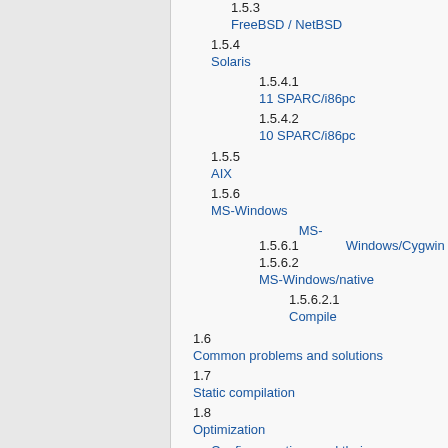1.5.3 FreeBSD / NetBSD
1.5.4 Solaris
1.5.4.1 11 SPARC/i86pc
1.5.4.2 10 SPARC/i86pc
1.5.5 AIX
1.5.6 MS-Windows
1.5.6.1 MS-Windows/Cygwin
1.5.6.2 MS-Windows/native
1.5.6.2.1 Compile
1.6 Common problems and solutions
1.7 Static compilation
1.8 Optimization
1.9 Configure options and their meanings
1.10 Parallelized compilation on multi-core CPUs
2 GRASS-GDAL plugin
3 Addons
3.1 Compiled modules
3.1.1 If binary comes with a -dev